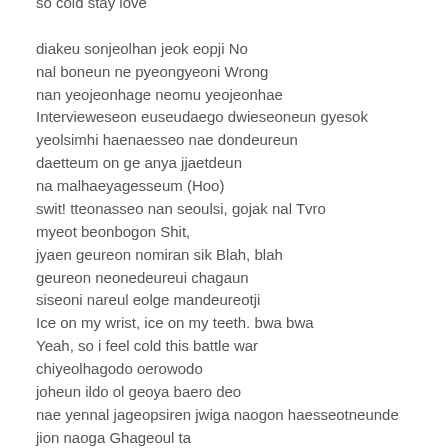so cold stay love
diakeu sonjeolhan jeok eopji No
nal boneun ne pyeongyeoni Wrong
nan yeojeonhage neomu yeojeonhae
Intervieweseon euseudaego dwieseoneun gyesok
yeolsimhi haenaesseo nae dondeureun
daetteum on ge anya jjaetdeun
na malhaeyagesseum (Hoo)
swit! tteonasseo nan seoulsi, gojak nal Tvro
myeot beonbogon Shit,
jyaen geureon nomiran sik Blah, blah
geureon neonedeureui chagaun
siseoni nareul eolge mandeureotji
Ice on my wrist, ice on my teeth. bwa bwa
Yeah, so i feel cold this battle war
chiyeolhagodo oerowodo
joheun ildo ol geoya baero deo
nae yennal jageopsiren jwiga naogon haesseotneunde
jion naoga Ghageoul ta